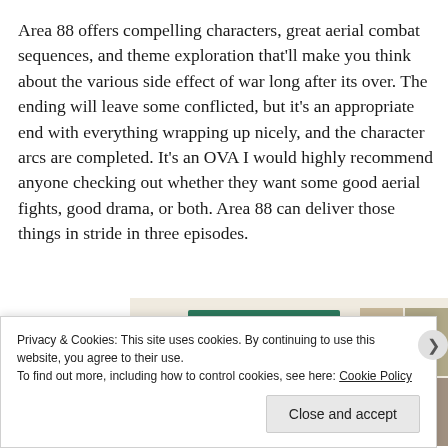Area 88 offers compelling characters, great aerial combat sequences, and theme exploration that'll make you think about the various side effect of war long after its over. The ending will leave some conflicted, but it's an appropriate end with everything wrapping up nicely, and the character arcs are completed. It's an OVA I would highly recommend anyone checking out whether they want some good aerial fights, good drama, or both. Area 88 can deliver those things in stride in three episodes.
[Figure (screenshot): Partial screenshot of a food/recipe website advertisement with a green bar logo area on a cream background and a grid of food photos on the right side. A circular icon is visible at the bottom left.]
Privacy & Cookies: This site uses cookies. By continuing to use this website, you agree to their use.
To find out more, including how to control cookies, see here: Cookie Policy